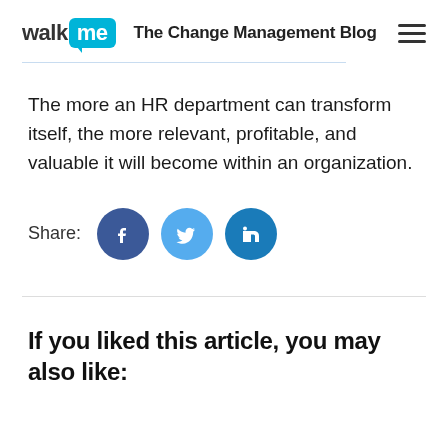walkme The Change Management Blog
The more an HR department can transform itself, the more relevant, profitable, and valuable it will become within an organization.
[Figure (other): Share buttons row with Facebook, Twitter, and LinkedIn circular icon buttons]
If you liked this article, you may also like: